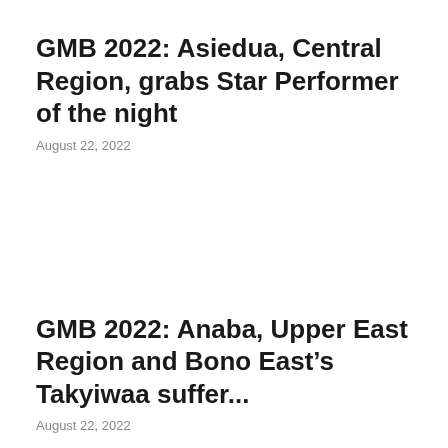GMB 2022: Asiedua, Central Region, grabs Star Performer of the night
August 22, 2022
GMB 2022: Anaba, Upper East Region and Bono East’s Takyiwaa suffer...
August 22, 2022